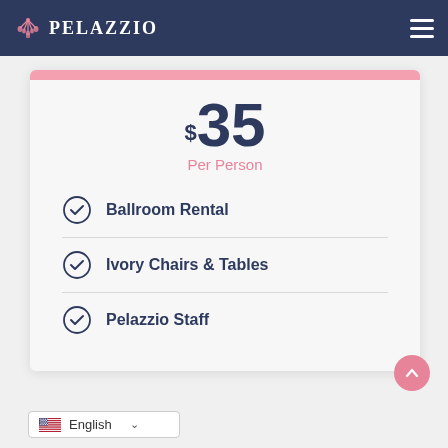PELAZZIO
$35 Per Person
Ballroom Rental
Ivory Chairs & Tables
Pelazzio Staff
English